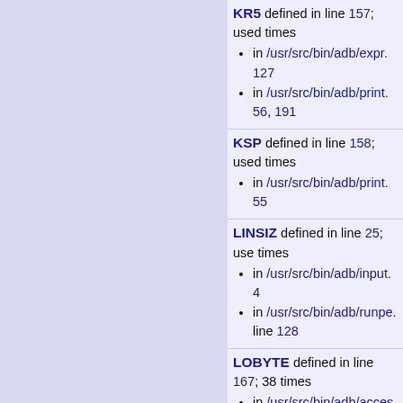KR5 defined in line 157; used times
  in /usr/src/bin/adb/expr. 127
  in /usr/src/bin/adb/print. 56, 191
KSP defined in line 158; used times
  in /usr/src/bin/adb/print. 55
LINSIZ defined in line 25; used times
  in /usr/src/bin/adb/input. 4
  in /usr/src/bin/adb/runpe. line 128
LOBYTE defined in line 167; 38 times
  in /usr/src/bin/adb/acces. line 67
  in /usr/src/bin/adb/form. line 135-145(4)
  in /usr/src/bin/adb/opset.